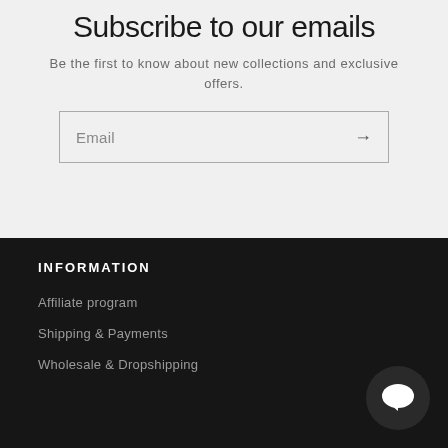Subscribe to our emails
Be the first to know about new collections and exclusive offers.
Email →
INFORMATION
Affiliate program
Shipping & Payments
Wholesale & Dropshipping